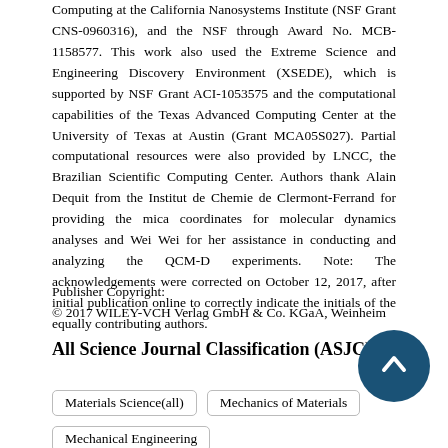Computing at the California Nanosystems Institute (NSF Grant CNS-0960316), and the NSF through Award No. MCB-1158577. This work also used the Extreme Science and Engineering Discovery Environment (XSEDE), which is supported by NSF Grant ACI-1053575 and the computational capabilities of the Texas Advanced Computing Center at the University of Texas at Austin (Grant MCA05S027). Partial computational resources were also provided by LNCC, the Brazilian Scientific Computing Center. Authors thank Alain Dequit from the Institut de Chemie de Clermont-Ferrand for providing the mica coordinates for molecular dynamics analyses and Wei Wei for her assistance in conducting and analyzing the QCM-D experiments. Note: The acknowledgements were corrected on October 12, 2017, after initial publication online to correctly indicate the initials of the equally contributing authors.
Publisher Copyright:
© 2017 WILEY-VCH Verlag GmbH & Co. KGaA, Weinheim
All Science Journal Classification (ASJC) codes
Materials Science(all)
Mechanics of Materials
Mechanical Engineering